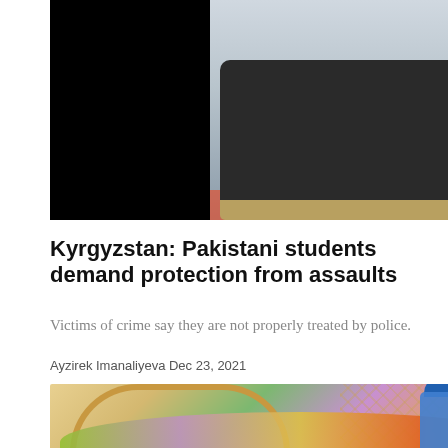[Figure (photo): Composite image: black panel on left, hospital scene on right showing a person in dark jacket and khaki pants lying on a stretcher/gurney in a medical facility]
Kyrgyzstan: Pakistani students demand protection from assaults
Victims of crime say they are not properly treated by police.
Ayzirek Imanaliyeva Dec 23, 2021
[Figure (photo): Market or bazaar interior with decorative arched display of fruits and vegetables in multiple colors, a worker in blue uniform visible at right, ornate lattice background decor]